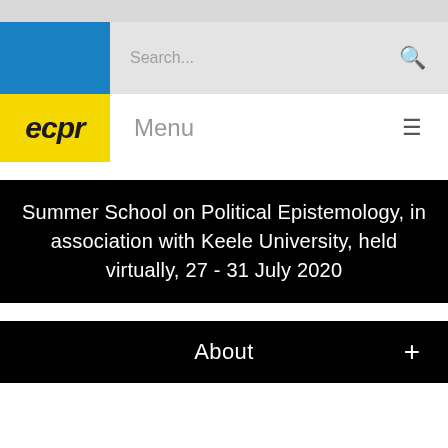[Figure (screenshot): Top grey bar of website interface]
[Figure (logo): ECPR logo on blue background with search bar]
ecpr  Menu
Summer School on Political Epistemology, in association with Keele University, held virtually, 27 - 31 July 2020
About